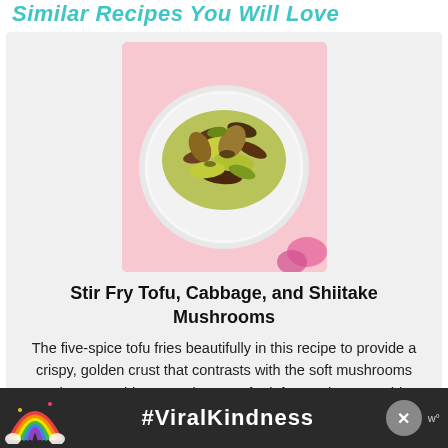Similar Recipes You Will Love
[Figure (photo): A white plate with stir fry tofu, cabbage, and shiitake mushrooms on a pink background]
Stir Fry Tofu, Cabbage, and Shiitake Mushrooms
The five-spice tofu fries beautifully in this recipe to provide a crispy, golden crust that contrasts with the soft mushrooms and sweet cabbage. Make extra for leftovers because this
[Figure (infographic): Advertisement banner with rainbow illustration and #ViralKindness text on dark background]